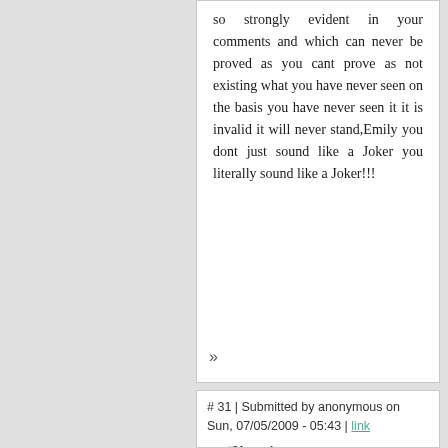so strongly evident in your comments and which can never be proved as you cant prove as not existing what you have never seen on the basis you have never seen it it is invalid it will never stand,Emily you dont just sound like a Joker you literally sound like a Joker!!!
»
# 31 | Submitted by anonymous on Sun, 07/05/2009 - 05:43 | link
"Your above statement